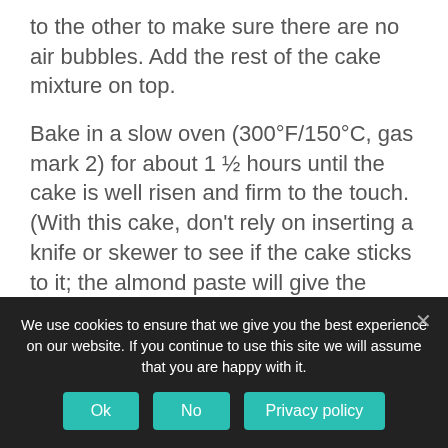to the other to make sure there are no air bubbles. Add the rest of the cake mixture on top.
Bake in a slow oven (300°F/150°C, gas mark 2) for about 1 ½ hours until the cake is well risen and firm to the touch. (With this cake, don't rely on inserting a knife or skewer to see if the cake sticks to it; the almond paste will give the impression of an uncooked cake.) Empty onto a cooling rack and leave until cold.
Apricot Sauce:
We use cookies to ensure that we give you the best experience on our website. If you continue to use this site we will assume that you are happy with it.